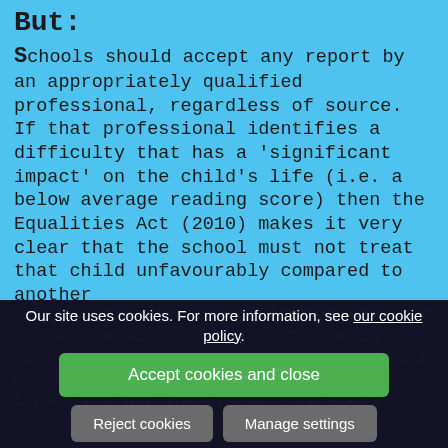But:
Schools should accept any report by an appropriately qualified professional, regardless of source. If that professional identifies a difficulty that has a ‘significant impact’ on the child’s life (i.e. a below average reading score) then the Equalities Act (2010) makes it very clear that the school must not treat that child unfavourably compared to another
child (i.e. a typical child that can read peers) and simple adjustments put in place treat a as a reader in a s is not treated less favourably than others. To impact and not take reasonable steps is b
Our site uses cookies. For more information, see our cookie policy.
Accept cookies and close
Reject cookies
Manage settings